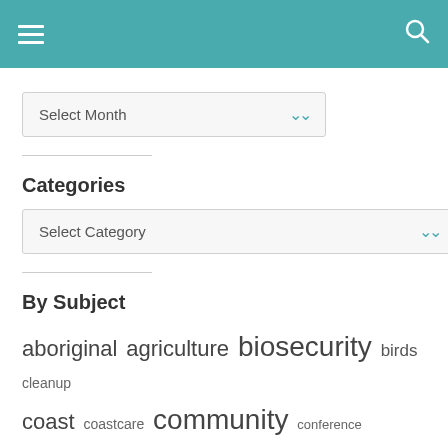[Figure (screenshot): Top navigation bar with teal/blue-green background, hamburger menu icon on left and search icon on right]
[Figure (screenshot): Select Month dropdown widget]
Categories
[Figure (screenshot): Select Category dropdown widget]
By Subject
aboriginal agriculture biosecurity birds cleanup coast coastcare community conference conservation d'entrecasteaux DHC education environment farming fire firewood frogs grazing green army guide